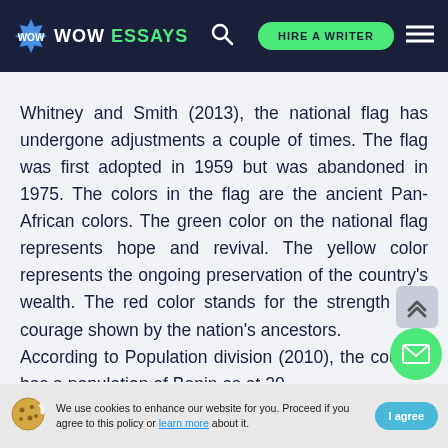WOW ESSAYS — HIRE A WRITER
Whitney and Smith (2013), the national flag has undergone adjustments a couple of times. The flag was first adopted in 1959 but was abandoned in 1975. The colors in the flag are the ancient Pan- African colors. The green color on the national flag represents hope and revival. The yellow color represents the ongoing preservation of the country's wealth. The red color stands for the strength and courage shown by the nation's ancestors. According to Population division (2010), the country has a population of Benin as at 20
We use cookies to enhance our website for you. Proceed if you agree to this policy or learn more about it. I agree